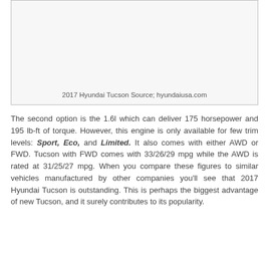[Figure (photo): Photo of 2017 Hyundai Tucson (image area shown as blank/white box)]
2017 Hyundai Tucson Source; hyundaiusa.com
The second option is the 1.6l which can deliver 175 horsepower and 195 lb-ft of torque. However, this engine is only available for few trim levels: Sport, Eco, and Limited. It also comes with either AWD or FWD. Tucson with FWD comes with 33/26/29 mpg while the AWD is rated at 31/25/27 mpg. When you compare these figures to similar vehicles manufactured by other companies you'll see that 2017 Hyundai Tucson is outstanding. This is perhaps the biggest advantage of new Tucson, and it surely contributes to its popularity.